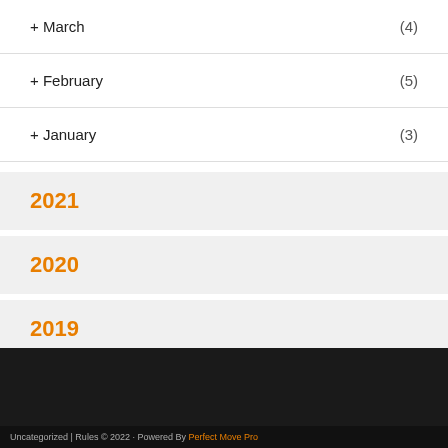+ March (4)
+ February (5)
+ January (3)
2021
2020
2019
Uncategorized | Rules © 2022 · Powered By Perfect Move Pro